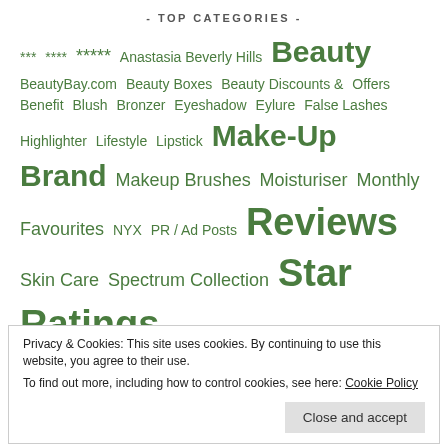- TOP CATEGORIES -
*** **** ***** Anastasia Beverly Hills Beauty BeautyBay.com Beauty Boxes Beauty Discounts & Offers Benefit Blush Bronzer Eyeshadow Eylure False Lashes Highlighter Lifestyle Lipstick Make-Up Brand Makeup Brushes Moisturiser Monthly Favourites NYX PR / Ad Posts Reviews Skin Care Spectrum Collection Star Ratings Travel Urban Decay Vegan
Privacy & Cookies: This site uses cookies. By continuing to use this website, you agree to their use.
To find out more, including how to control cookies, see here: Cookie Policy
Close and accept